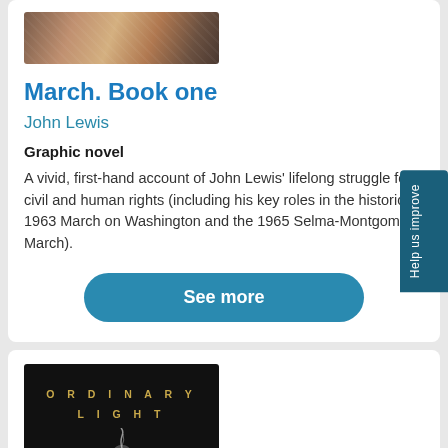[Figure (photo): Partial book cover image at top of first card, cropped]
March. Book one
John Lewis
Graphic novel
A vivid, first-hand account of John Lewis' lifelong struggle for civil and human rights (including his key roles in the historic 1963 March on Washington and the 1965 Selma-Montgomery March).
See more
Help us improve
[Figure (photo): Book cover for 'Ordinary Light: A Memoir' with black background and smoke/light graphic, gold lettered title]